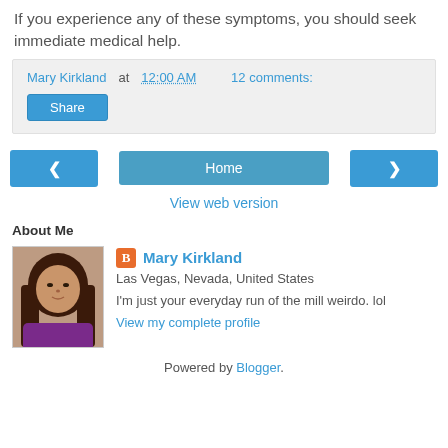If you experience any of these symptoms, you should seek immediate medical help.
Mary Kirkland at 12:00 AM   12 comments:
Share
‹  Home  ›
View web version
About Me
[Figure (photo): Profile photo of Mary Kirkland, a woman with long dark hair wearing a purple top]
Mary Kirkland
Las Vegas, Nevada, United States
I'm just your everyday run of the mill weirdo. lol
View my complete profile
Powered by Blogger.